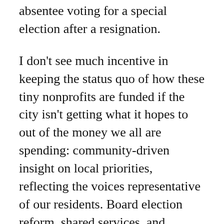absentee voting for a special election after a resignation.
I don't see much incentive in keeping the status quo of how these tiny nonprofits are funded if the city isn't getting what it hopes to out of the money we all are spending: community-driven insight on local priorities, reflecting the voices representative of our residents. Board election reform, shared services, and accountability standards all move in that direction.
Honestly, I love my neighborhood organization. Last night at the Transportation & Safety Committee, we heard from the Park Board that our